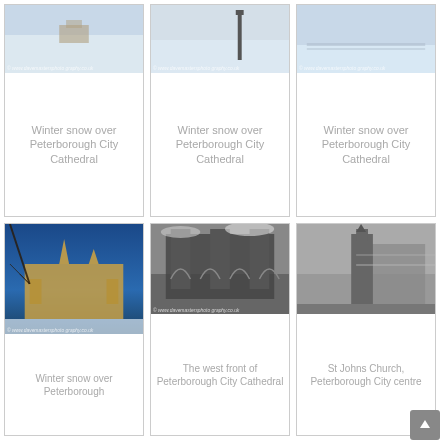[Figure (photo): Winter snow scene aerial/ground view, Peterborough City Cathedral area]
Winter snow over Peterborough City Cathedral
[Figure (photo): Winter snow scene with post/marker, Peterborough City Cathedral area]
Winter snow over Peterborough City Cathedral
[Figure (photo): Winter snow scene open ground, Peterborough City Cathedral area]
Winter snow over Peterborough City Cathedral
[Figure (photo): Peterborough City Cathedral exterior with blue sky and snow, colour photograph]
Winter snow over Peterborough
[Figure (photo): The west front of Peterborough City Cathedral, black and white photograph]
The west front of Peterborough City Cathedral
[Figure (photo): St Johns Church, Peterborough City centre, black and white photograph]
St Johns Church, Peterborough City centre